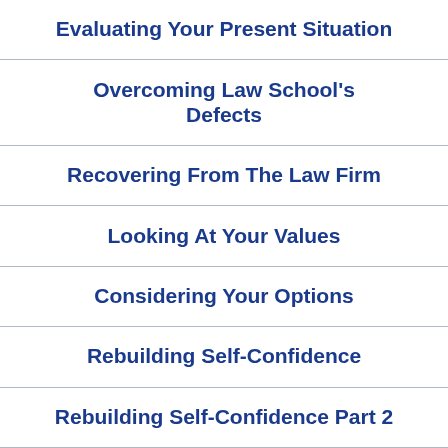Evaluating Your Present Situation
Overcoming Law School's Defects
Recovering From The Law Firm
Looking At Your Values
Considering Your Options
Rebuilding Self-Confidence
Rebuilding Self-Confidence Part 2